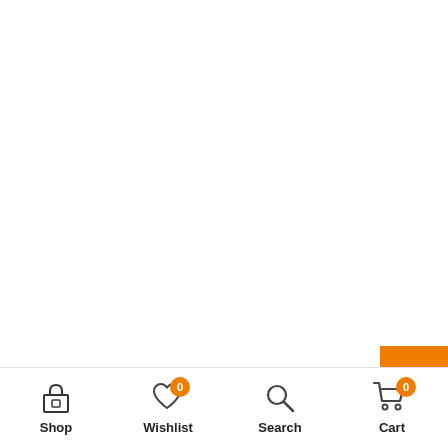Archives
[Figure (screenshot): Scroll-to-top button: orange square with white upward chevron arrow]
Shop | Wishlist 0 | Search | Cart 0